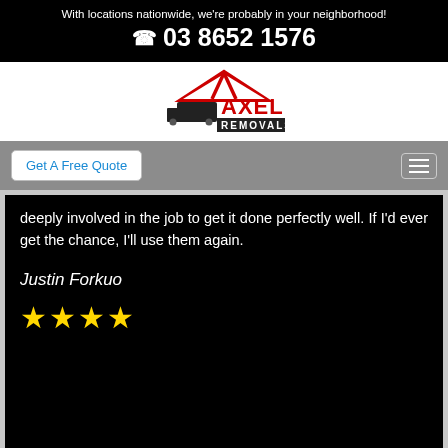With locations nationwide, we're probably in your neighborhood!
03 8652 1576
[Figure (logo): Axel Removals logo with red roof/house outline, truck silhouette, and text 'AXEL REMOVALS']
Get A Free Quote
deeply involved in the job to get it done perfectly well. If I'd ever get the chance, I'll use them again.
Justin Forkuo
★★★★ (4 stars)